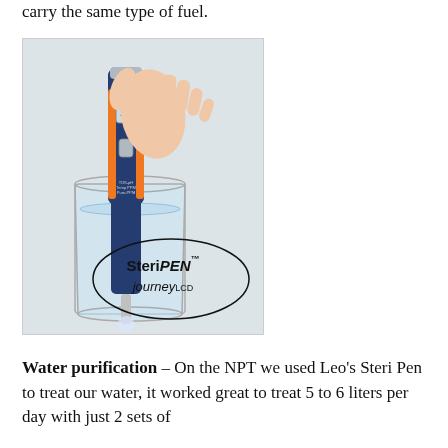carry the same type of fuel.
[Figure (photo): A hand holding a SteriPEN Journey LCD water purifier device dipped into a clear glass of water. The device is navy blue and orange with an LCD display showing '18'. The SteriPEN journey LCD logo/text appears at the bottom of the image.]
Water purification – On the NPT we used Leo's Steri Pen to treat our water, it worked great to treat 5 to 6 liters per day with just 2 sets of